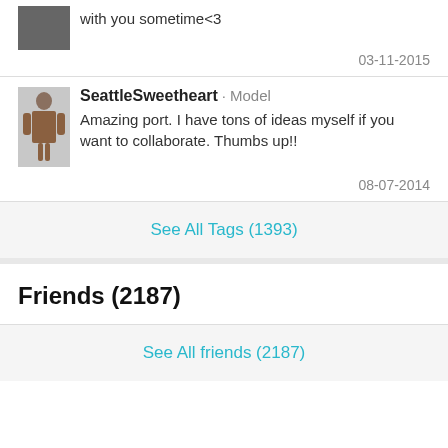with you sometime<3
03-11-2015
SeattleSweetheart · Model
Amazing port. I have tons of ideas myself if you want to collaborate. Thumbs up!!
08-07-2014
See All Tags (1393)
Friends (2187)
See All friends (2187)